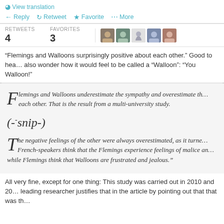View translation
Reply   Retweet   Favorite   More
RETWEETS 4   FAVORITES 3
“Flemings and Walloons surprisingly positive about each other.” Good to hear... also wonder how it would feel to be called a “Walloon”: “You Walloon!”
Flemings and Walloons underestimate the sympathy and overestimate the antipathy each other. That is the result from a multi-university study.
(-snip-)
The negative feelings of the other were always overestimated, as it turned out. French-speakers think that the Flemings experience feelings of malice and contempt, while Flemings think that Walloons are frustrated and jealous.”
All very fine, except for one thing: This study was carried out in 2010 and 20... leading researcher justifies that in the article by pointing out that that was th...